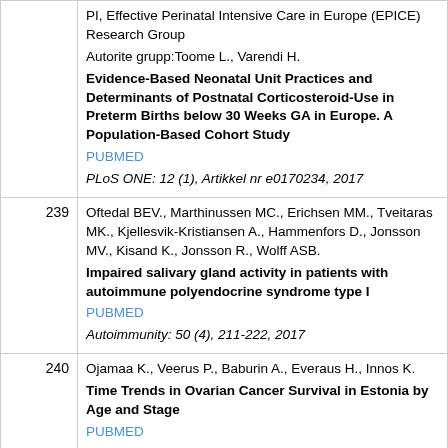| # | Reference |
| --- | --- |
|  | PI, Effective Perinatal Intensive Care in Europe (EPICE) Research Group
Autorite grupp: Toome L., Varendi H.
Evidence-Based Neonatal Unit Practices and Determinants of Postnatal Corticosteroid-Use in Preterm Births below 30 Weeks GA in Europe. A Population-Based Cohort Study
PUBMED
PLoS ONE: 12 (1), Artikkel nr e0170234, 2017 |
| 239 | Oftedal BEV., Marthinussen MC., Erichsen MM., Tveitaras MK., Kjellesvik-Kristiansen A., Hammenfors D., Jonsson MV., Kisand K., Jonsson R., Wolff ASB.
Impaired salivary gland activity in patients with autoimmune polyendocrine syndrome type I
PUBMED
Autoimmunity: 50 (4), 211-222, 2017 |
| 240 | Ojamaa K., Veerus P., Baburin A., Everaus H., Innos K.
Time Trends in Ovarian Cancer Survival in Estonia by Age and Stage
PUBMED
International Journal of Gynecological Cancer: 27 (1), 44-49, 2017 |